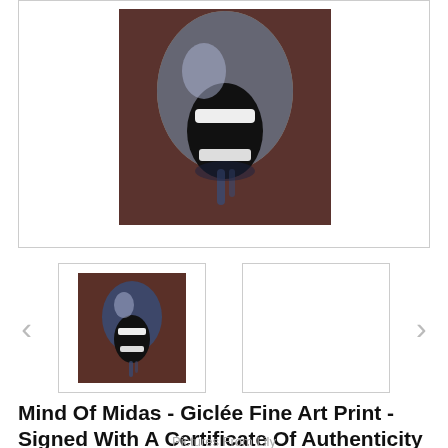[Figure (photo): A framed fine art print showing a screaming face with dark blue/grey tones against a dark brown background, displayed on a white mat]
[Figure (photo): Small thumbnail of the same screaming face artwork, darker and smaller version]
[Figure (photo): Empty white thumbnail box placeholder]
Mind Of Midas - Giclée Fine Art Print - Signed With A Certificate Of Authenticity
Pictures From Lily